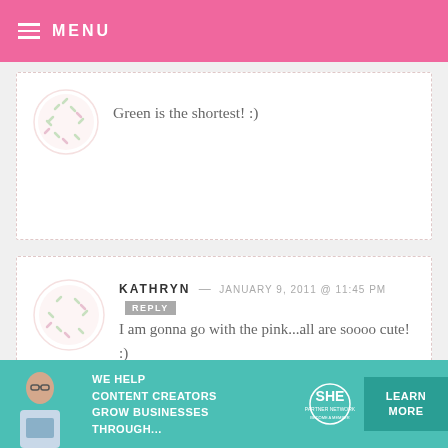MENU
Green is the shortest! :)
KATHRYN — JANUARY 9, 2011 @ 11:45 PM   REPLY
I am gonna go with the pink...all are soooo cute! :)
SHAZ — JANUARY 9, 2011 @ 11:45 PM   REPLY
red, white and blue, definitely red,
[Figure (infographic): SHE Partner Network advertisement banner with teal background, woman with laptop photo, text: WE HELP CONTENT CREATORS GROW BUSINESSES THROUGH..., SHE logo, LEARN MORE button]